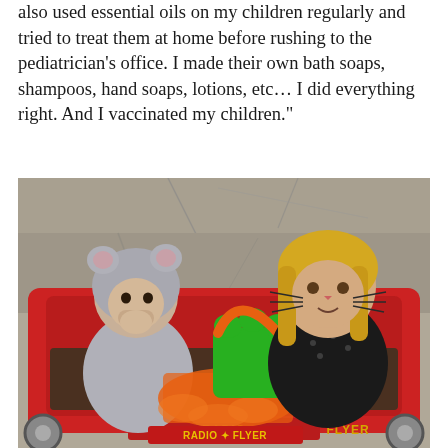also used essential oils on my children regularly and tried to treat them at home before rushing to the pediatrician's office. I made their own bath soaps, shampoos, hand soaps, lotions, etc… I did everything right. And I vaccinated my children."
[Figure (photo): Two young children sitting in a red Radio Flyer wagon in Halloween costumes. The baby on the left wears a gray mouse/elephant costume with ears, sucking on fingers. The older girl on the right has cat face paint, wears a black top with polka dots, and holds a green paw-shaped trick-or-treat basket with an orange handle. She wears an orange tutu skirt. The Radio Flyer logo is visible on the front of the wagon.]